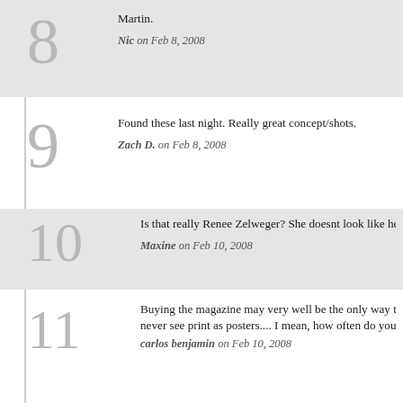8 — Martin.
Nic on Feb 8, 2008
9 — Found these last night. Really great concept/shots.
Zach D. on Feb 8, 2008
10 — Is that really Renee Zelweger? She doesnt look like herself at all! Bu...
Maxine on Feb 10, 2008
11 — Buying the magazine may very well be the only way to get a copy o... never see print as posters.... I mean, how often do you think they'll se...
carlos benjamin on Feb 10, 2008
12 — Great photos and a brilliant idea!
Benny on Feb 11, 2008
13 — i think they are absolutely magnificent, The whole old movie conce...